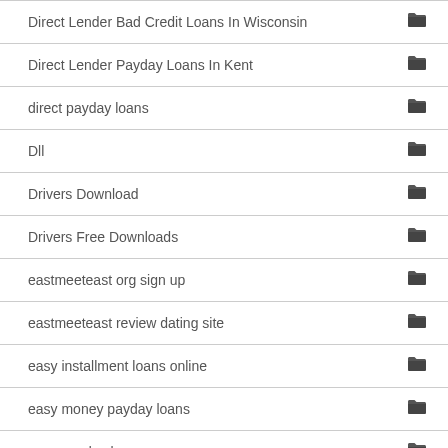Direct Lender Bad Credit Loans In Wisconsin
Direct Lender Payday Loans In Kent
direct payday loans
Dll
Drivers Download
Drivers Free Downloads
eastmeeteast org sign up
eastmeeteast review dating site
easy installment loans online
easy money payday loans
easy payday loans
eharmony reviews
Essay Writers 2020